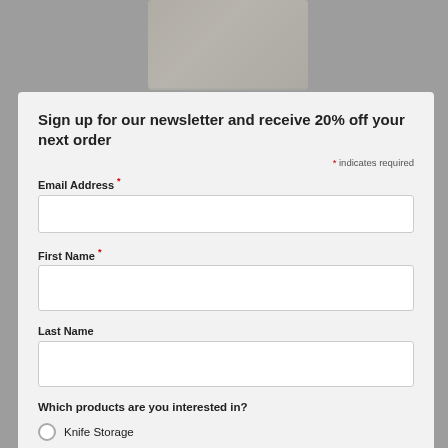[Figure (screenshot): Background product page showing a knife block product (BMK-195 Oak 360 Touch Knife Block), partially visible with link text, description, price £85.00, Ex.Tax £70.83, and a product image at top center and bottom]
Sign up for our newsletter and receive 20% off your next order
* indicates required
Email Address *
First Name *
Last Name
Which products are you interested in?
Knife Storage
Materials
Both (partially visible)